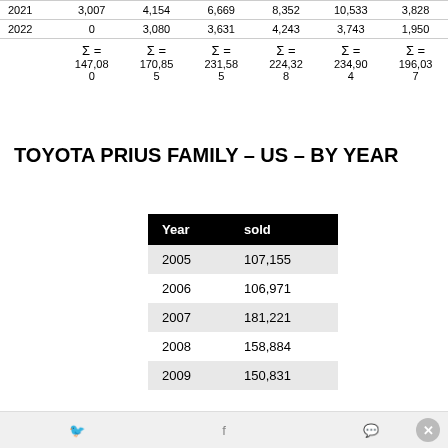|  | col1 | col2 | col3 | col4 | col5 | col6 |
| --- | --- | --- | --- | --- | --- | --- |
| 2021 | 3,007 | 4,154 | 6,669 | 8,352 | 10,533 | 3,828 |
| 2022 | 0 | 3,080 | 3,631 | 4,243 | 3,743 | 1,950 |
| Σ = | 147,080 | 170,855 | 231,585 | 224,328 | 234,904 | 196,037 |
TOYOTA PRIUS FAMILY – US – BY YEAR
| Year | sold |
| --- | --- |
| 2005 | 107,155 |
| 2006 | 106,971 |
| 2007 | 181,221 |
| 2008 | 158,884 |
| 2009 | 150,831 |
Twitter | Facebook | Messenger | Close